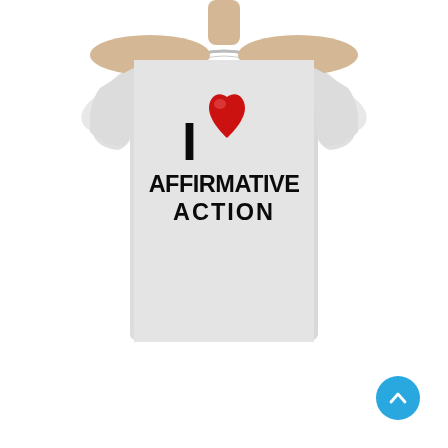[Figure (photo): A person wearing a white t-shirt with 'I (red heart) AFFIRMATIVE ACTION' printed on the front in bold black text, cropped to show only the torso and arms against a white background. A blue circular scroll-to-top button appears in the bottom-right corner of the webpage screenshot.]